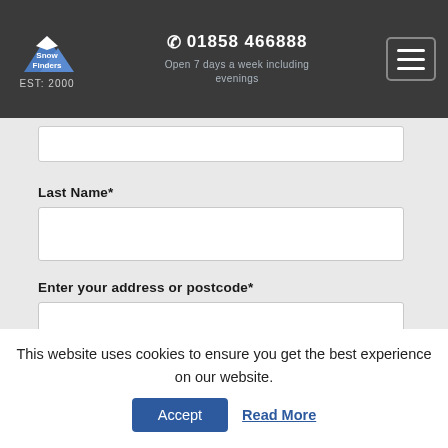[Figure (logo): Snow Finders logo with mountain graphic and EST: 2000 text]
01858 466888
Open 7 days a week including evenings
Last Name*
Enter your address or postcode*
Tel (Mobile)*
This website uses cookies to ensure you get the best experience on our website.
Accept
Read More